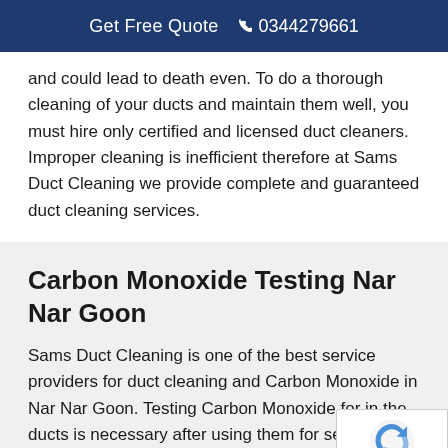Get Free Quote  📞 0344279661
and could lead to death even. To do a thorough cleaning of your ducts and maintain them well, you must hire only certified and licensed duct cleaners. Improper cleaning is inefficient therefore at Sams Duct Cleaning we provide complete and guaranteed duct cleaning services.
Carbon Monoxide Testing Nar Nar Goon
Sams Duct Cleaning is one of the best service providers for duct cleaning and Carbon Monoxide in Nar Nar Goon. Testing Carbon Monoxide for in the ducts is necessary after using them for several years. Our technicians use the advanced tools and skills to detect